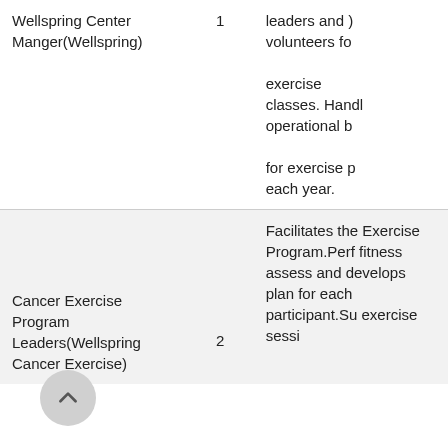| Role | Number | Description |
| --- | --- | --- |
| Wellspring Center Manger(Wellspring) | 1 | leaders and volunteers for exercise classes. Handl operational b for exercise p each year. |
| Cancer Exercise Program Leaders(Wellspring Cancer Exercise) | 2 | Facilitates the Exercise Program.Perf fitness assess and develops plan for each participant.Su exercise sessi |